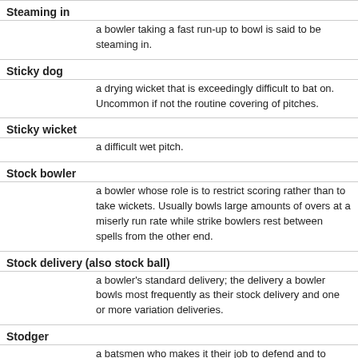Steaming in
a bowler taking a fast run-up to bowl is said to be steaming in.
Sticky dog
a drying wicket that is exceedingly difficult to bat on. Uncommon if not the routine covering of pitches.
Sticky wicket
a difficult wet pitch.
Stock bowler
a bowler whose role is to restrict scoring rather than to take wickets. Usually bowls large amounts of overs at a miserly run rate while strike bowlers rest between spells from the other end.
Stock delivery (also stock ball)
a bowler's standard delivery; the delivery a bowler bowls most frequently as their stock delivery and one or more variation deliveries.
Stodger
a batsmen who makes it their job to defend and to score at a mediocre rate. Attracts derogatory comments but also compliments on resilience and technique.
Straight bat
the bat when held vertically, or when swung through a vertical arc